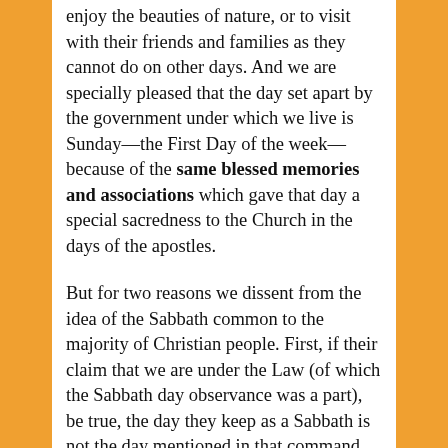enjoy the beauties of nature, or to visit with their friends and families as they cannot do on other days. And we are specially pleased that the day set apart by the government under which we live is Sunday—the First Day of the week—because of the same blessed memories and associations which gave that day a special sacredness to the Church in the days of the apostles.
But for two reasons we dissent from the idea of the Sabbath common to the majority of Christian people. First, if their claim that we are under the Law (of which the Sabbath day observance was a part), be true, the day they keep as a Sabbath is not the day mentioned in that command. They observe the first day of the week, while the command designated the seventh day. If the Fourth Commandment be binding at all, it is binding as